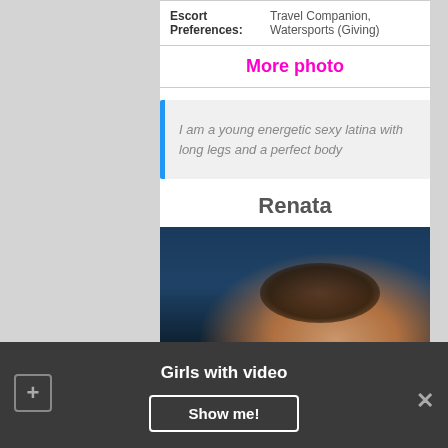| Escort Preferences: | Travel Companion, Watersports (Giving) |
More photo
I am a young energetic sexy latina with long legs and a perfect body
Renata
[Figure (photo): Portrait photo of a young woman with dark hair against blue curtain background]
Girls with video
Show me!